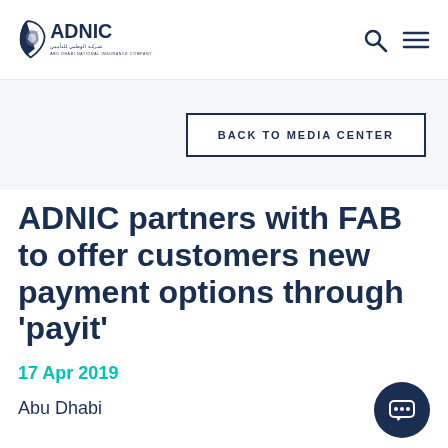[Figure (logo): ADNIC logo — Abu Dhabi National Insurance Company]
BACK TO MEDIA CENTER
ADNIC partners with FAB to offer customers new payment options through 'payit'
17 Apr 2019
Abu Dhabi